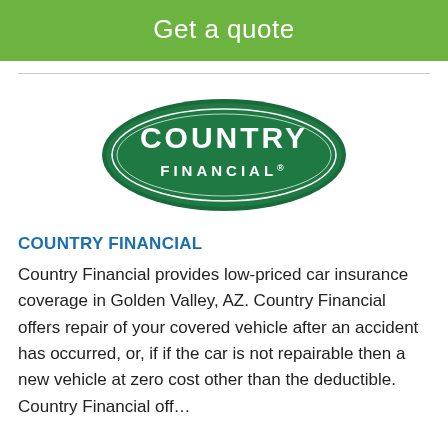Get a quote
[Figure (logo): Country Financial oval green logo with white text reading COUNTRY FINANCIAL®]
COUNTRY FINANCIAL
Country Financial provides low-priced car insurance coverage in Golden Valley, AZ. Country Financial offers repair of your covered vehicle after an accident has occurred, or, if if the car is not repairable then a new vehicle at zero cost other than the deductible. Country Financial off...